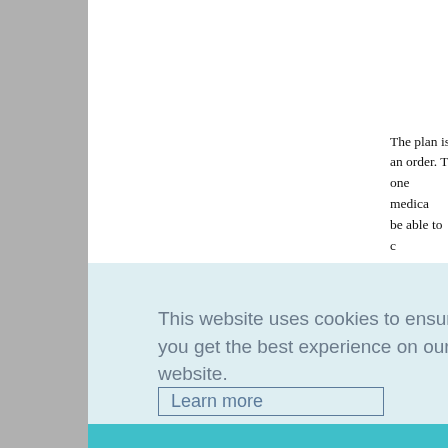The plan is an order. T one medica be able to c
Stock on h sewing wit that looks l
This website uses cookies to ensure you get the best experience on our website.
Learn more
Got it!